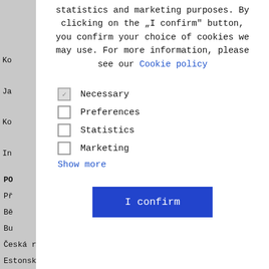statistics and marketing purposes. By clicking on the „I confirm" button, you confirm your choice of cookies we may use. For more information, please see our Cookie policy
Necessary
Preferences
Statistics
Marketing
Show more
I confirm
KO
Ja
Ko
In
Pr
Ře
Pr
Li
PO
Př
Bě
Bu
Česká republika
Estonsku